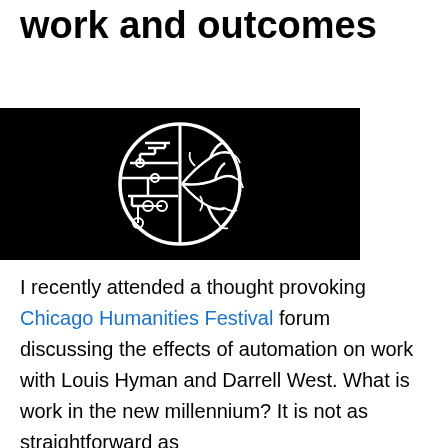work and outcomes
[Figure (logo): Black rectangular image containing a circular logo split in half — left half shows circuit board/mechanical patterns in white, right half shows organic/neural branch patterns in white, representing the fusion of artificial intelligence and the human brain.]
I recently attended a thought provoking Chicago Humanities Festival forum discussing the effects of automation on work with Louis Hyman and Darrell West. What is work in the new millennium? It is not as straightforward as